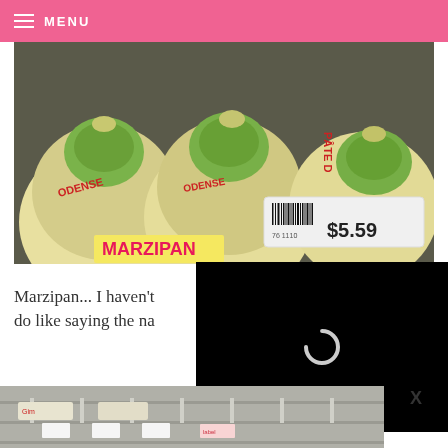MENU
[Figure (photo): Marzipan balls wrapped in green and white packaging with a price tag showing $5.59 and a label reading MARZIPAN]
[Figure (photo): Black video loading overlay with spinning loader icon]
Marzipan... I haven't do like saying the na
[Figure (photo): Grocery store refrigerator shelf with packaged items]